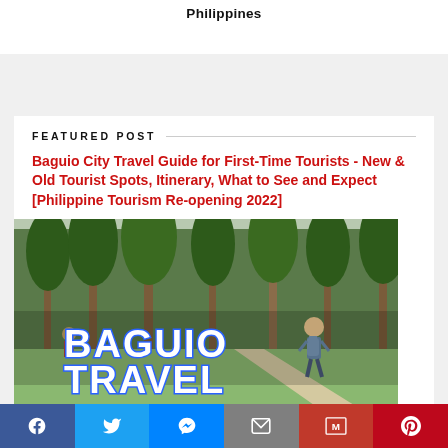Philippines
FEATURED POST
Baguio City Travel Guide for First-Time Tourists - New & Old Tourist Spots, Itinerary, What to See and Expect [Philippine Tourism Re-opening 2022]
[Figure (photo): Baguio Travel promotional image showing a person with a backpack walking through pine trees, with large text reading 'BAGUIO TRAVEL']